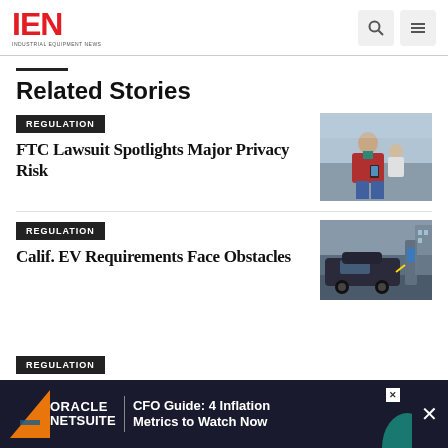IEN — Industrial Equipment News
Related Stories
REGULATION
FTC Lawsuit Spotlights Major Privacy Risk
[Figure (photo): Man in red plaid jacket looking at smartphone, woman in background near water]
REGULATION
Calif. EV Requirements Face Obstacles
[Figure (photo): Electric vehicle charging at a station, dark-colored car outdoors]
REGULATION
[Figure (screenshot): Oracle NetSuite advertisement: CFO Guide: 4 Inflation Metrics to Watch Now]